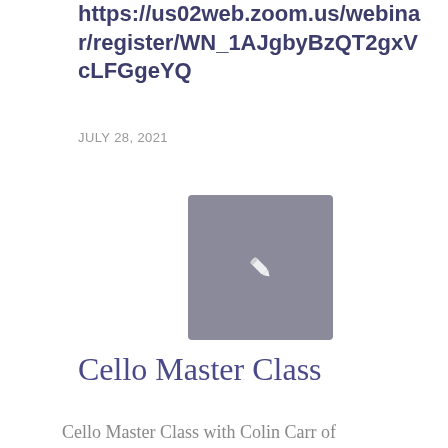https://us02web.zoom.us/webinar/register/WN_1AJgbyBzQT2gxVcLFGgeYQ
JULY 28, 2021
[Figure (illustration): Gray square placeholder image with a pencil/edit icon in the center]
Cello Master Class
Cello Master Class with Colin Carr of